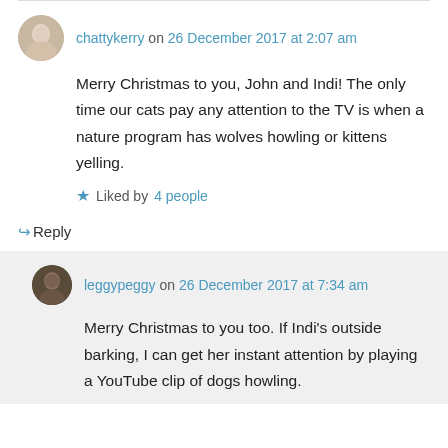chattykerry on 26 December 2017 at 2:07 am
Merry Christmas to you, John and Indi! The only time our cats pay any attention to the TV is when a nature program has wolves howling or kittens yelling.
Liked by 4 people
↳ Reply
leggypeggy on 26 December 2017 at 7:34 am
Merry Christmas to you too. If Indi's outside barking, I can get her instant attention by playing a YouTube clip of dogs howling.